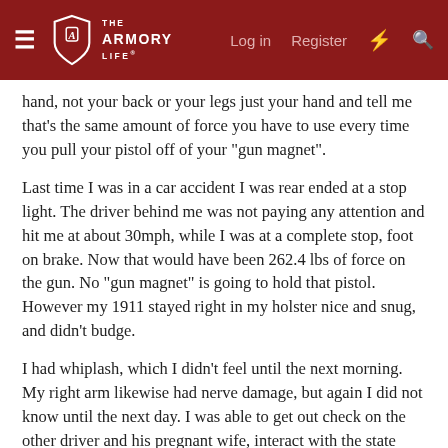THE ARMORY LIFE | Log in | Register
hand, not your back or your legs just your hand and tell me that's the same amount of force you have to use every time you pull your pistol off of your "gun magnet".
Last time I was in a car accident I was rear ended at a stop light. The driver behind me was not paying any attention and hit me at about 30mph, while I was at a complete stop, foot on brake. Now that would have been 262.4 lbs of force on the gun. No "gun magnet" is going to hold that pistol. However my 1911 stayed right in my holster nice and snug, and didn't budge.
I had whiplash, which I didn't feel until the next morning. My right arm likewise had nerve damage, but again I did not know until the next day. I was able to get out check on the other driver and his pregnant wife, interact with the state trooper, take